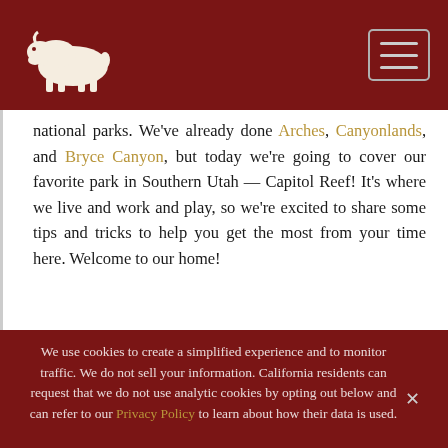[Bison logo] [Hamburger menu]
national parks. We've already done Arches, Canyonlands, and Bryce Canyon, but today we're going to cover our favorite park in Southern Utah — Capitol Reef! It's where we live and work and play, so we're excited to share some tips and tricks to help you get the most from your time here. Welcome to our home!
We use cookies to create a simplified experience and to monitor traffic. We do not sell your information. California residents can request that we do not use analytic cookies by opting out below and can refer to our Privacy Policy to learn about how their data is used.